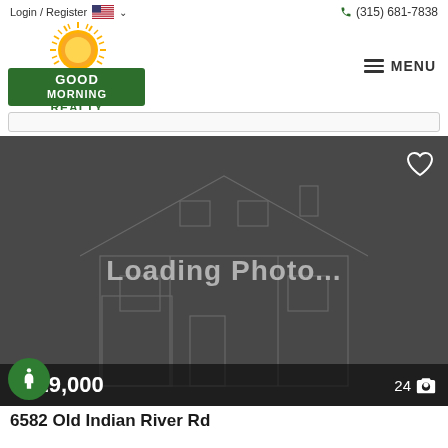Login / Register   (315) 681-7838
[Figure (logo): Good Morning Realty logo with sunburst graphic above green banner text]
MENU
[Figure (photo): Loading Photo... placeholder image showing a house outline on dark gray background with heart icon, price $329,000, and 24 photos indicator]
$329,000
24
6582 Old Indian River Rd